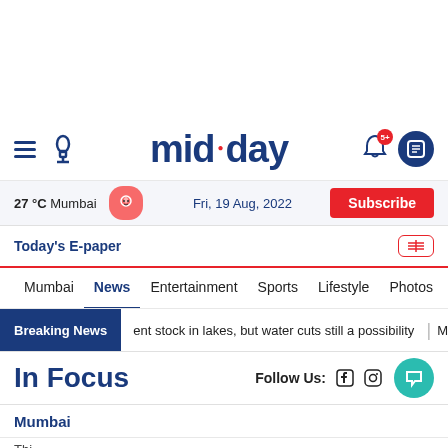mid-day
27 °C Mumbai  Fri, 19 Aug, 2022  Subscribe
Today's E-paper
Mumbai  News  Entertainment  Sports  Lifestyle  Photos  Podcast  Ti
Breaking News  ent stock in lakes, but water cuts still a possibility  M
In Focus
Follow Us:
Mumbai
Thi...